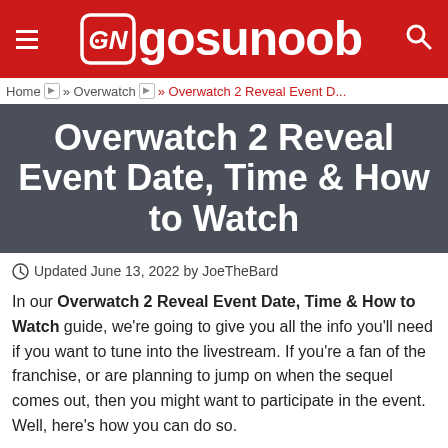gosunoob
Home » Overwatch » Overwatch 2 Reveal Event D...
Overwatch 2 Reveal Event Date, Time & How to Watch
Updated June 13, 2022 by JoeTheBard
In our Overwatch 2 Reveal Event Date, Time & How to Watch guide, we're going to give you all the info you'll need if you want to tune into the livestream. If you're a fan of the franchise, or are planning to jump on when the sequel comes out, then you might want to participate in the event. Well, here's how you can do so.
ARTICLE CONTINUES BELOW